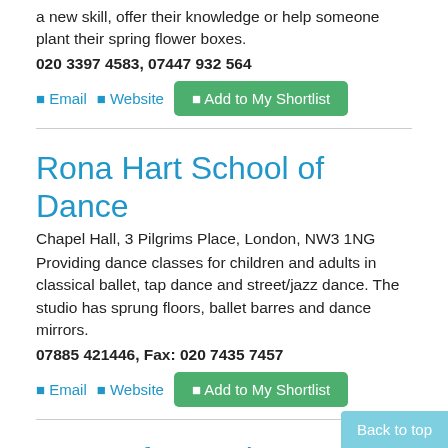a new skill, offer their knowledge or help someone plant their spring flower boxes.
020 3397 4583, 07447 932 564
Email   Website   Add to My Shortlist
Rona Hart School of Dance
Chapel Hall, 3 Pilgrims Place, London, NW3 1NG
Providing dance classes for children and adults in classical ballet, tap dance and street/jazz dance. The studio has sprung floors, ballet barres and dance mirrors.
07885 421446, Fax: 020 7435 7457
Email   Website   Add to My Shortlist
Centre for Justice
Whittington House, 764-768, Holloway Road, N19 3JQ
Back to top